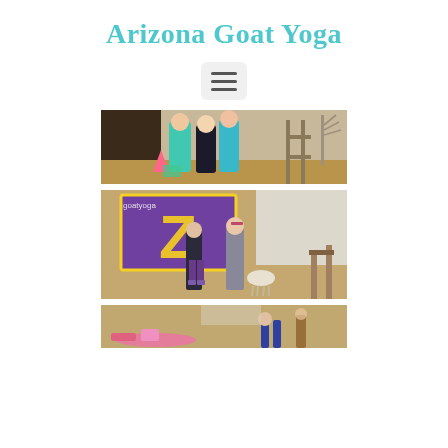Arizona Goat Yoga
[Figure (other): Hamburger menu icon button with three horizontal lines on light gray rounded background]
[Figure (photo): Outdoor photo of three people standing together at what appears to be a goat yoga event, wearing colorful athletic clothing, farm setting with hay and wooden fence visible]
[Figure (photo): Outdoor photo of two people standing in front of a colorful Arizona Goat Yoga banner/sign, with a goat nearby, set on a dirt farm area]
[Figure (photo): Partial view of outdoor farm scene with colorful items (pink mat and other gear) on the ground, people visible in background]